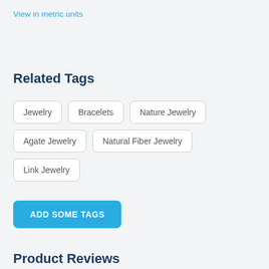View in metric units
Related Tags
Jewelry
Bracelets
Nature Jewelry
Agate Jewelry
Natural Fiber Jewelry
Link Jewelry
ADD SOME TAGS
Product Reviews